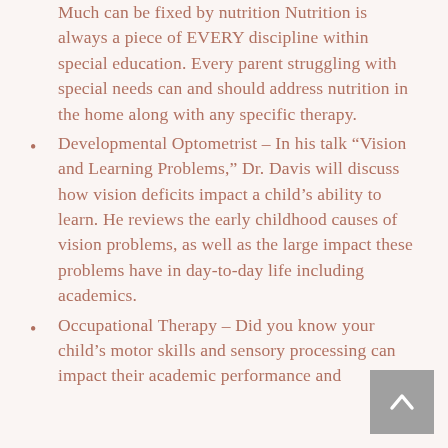Much can be fixed by nutrition Nutrition is always a piece of EVERY discipline within special education. Every parent struggling with special needs can and should address nutrition in the home along with any specific therapy.
Developmental Optometrist – In his talk “Vision and Learning Problems,” Dr. Davis will discuss how vision deficits impact a child’s ability to learn. He reviews the early childhood causes of vision problems, as well as the large impact these problems have in day-to-day life including academics.
Occupational Therapy – Did you know your child’s motor skills and sensory processing can impact their academic performance and